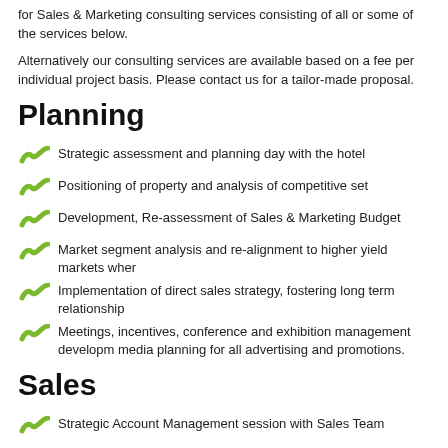for Sales & Marketing consulting services consisting of all or some of the services below.
Alternatively our consulting services are available based on a fee per individual project basis. Please contact us for a tailor-made proposal.
Planning
Strategic assessment and planning day with the hotel
Positioning of property and analysis of competitive set
Development, Re-assessment of Sales & Marketing Budget
Market segment analysis and re-alignment to higher yield markets wher
Implementation of direct sales strategy, fostering long term relationship
Meetings, incentives, conference and exhibition management developm media planning for all advertising and promotions.
Sales
Strategic Account Management session with Sales Team
Implementation of direct sales strategy, fostering long term relationship